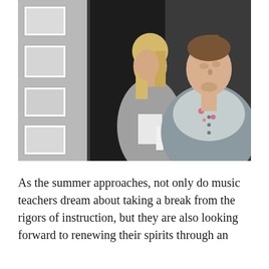[Figure (photo): Two young women looking upward at artwork displayed on a wall in what appears to be a gallery or museum. The woman on the right is in the foreground wearing a floral/patterned scarf and grey top; the woman in the background has blonde hair and holds papers, wearing a grey cardigan.]
As the summer approaches, not only do music teachers dream about taking a break from the rigors of instruction, but they are also looking forward to renewing their spirits through an